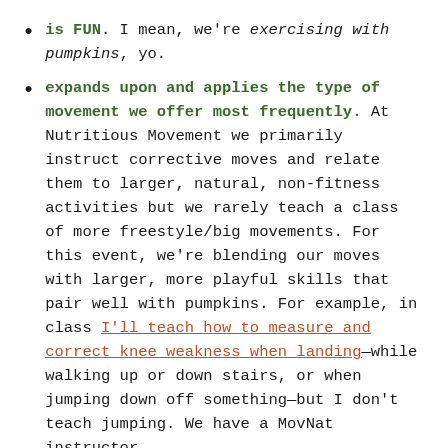is FUN. I mean, we're exercising with pumpkins, yo.
expands upon and applies the type of movement we offer most frequently. At Nutritious Movement we primarily instruct corrective moves and relate them to larger, natural, non-fitness activities but we rarely teach a class of more freestyle/big movements. For this event, we're blending our moves with larger, more playful skills that pair well with pumpkins. For example, in class I'll teach how to measure and correct knee weakness when landing—while walking up or down stairs, or when jumping down off something—but I don't teach jumping. We have a MovNat instructor